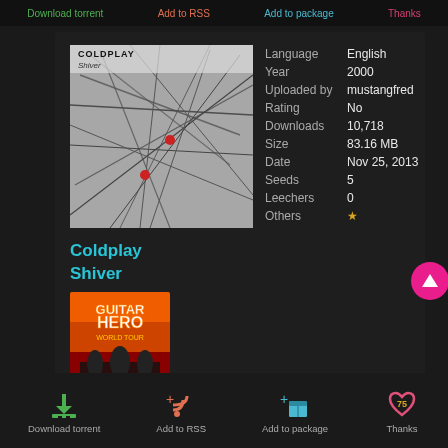Download torrent  Add to RSS  Add to package  Thanks
[Figure (photo): Coldplay Shiver album cover art — abstract branches with red dots on grey background]
| Field | Value |
| --- | --- |
| Language | English |
| Year | 2000 |
| Uploaded by | mustangfred |
| Rating | No |
| Downloads | 10,718 |
| Size | 83.16 MB |
| Date | Nov 25, 2013 |
| Seeds | 5 |
| Leechers | 0 |
| Others | ★ |
Coldplay Shiver
[Figure (photo): Guitar Hero World Tour game cover image]
Download torrent  Add to RSS  Add to package  Thanks